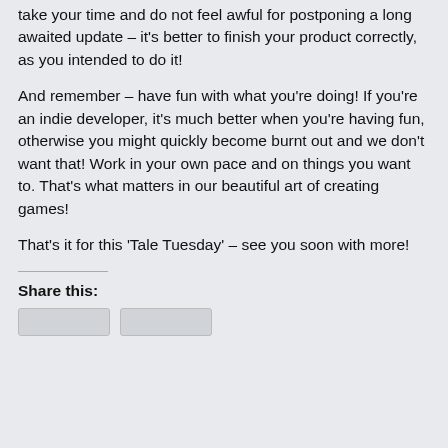take your time and do not feel awful for postponing a long awaited update – it's better to finish your product correctly, as you intended to do it!
And remember – have fun with what you're doing! If you're an indie developer, it's much better when you're having fun, otherwise you might quickly become burnt out and we don't want that! Work in your own pace and on things you want to. That's what matters in our beautiful art of creating games!
That's it for this 'Tale Tuesday' – see you soon with more!
Share this: